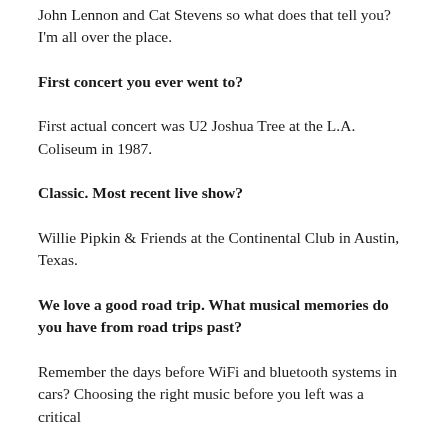John Lennon and Cat Stevens so what does that tell you? I'm all over the place.
First concert you ever went to?
First actual concert was U2 Joshua Tree at the L.A. Coliseum in 1987.
Classic. Most recent live show?
Willie Pipkin & Friends at the Continental Club in Austin, Texas.
We love a good road trip. What musical memories do you have from road trips past?
Remember the days before WiFi and bluetooth systems in cars? Choosing the right music before you left was a critical